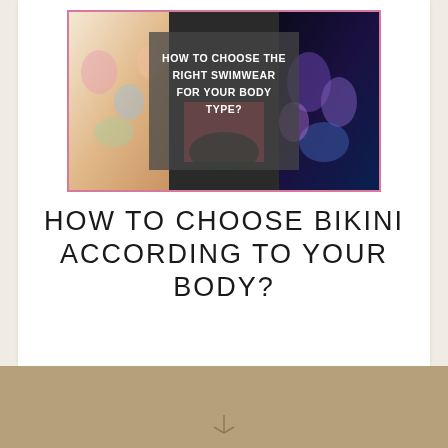[Figure (photo): Image showing three women in swimwear with a semi-transparent overlay box in the center reading 'HOW TO CHOOSE THE RIGHT SWIMWEAR FOR YOUR BODY TYPE?' in white bold uppercase text. The image has a pink border.]
HOW TO CHOOSE BIKINI ACCORDING TO YOUR BODY?